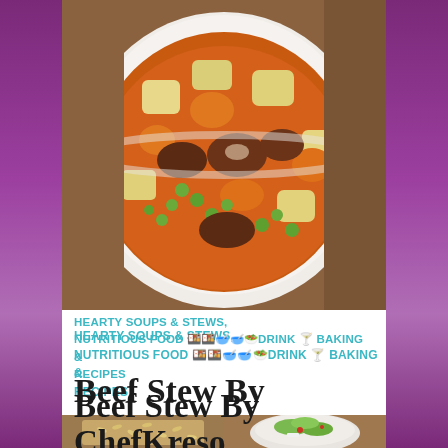[Figure (photo): Bowl of beef stew with potatoes, carrots, green peas, and meat chunks in a rich orange broth, served in a white bowl on a wooden table]
HEARTY SOUPS & STEWS, NUTRITIOUS FOOD 🍱🍱🥣🥣🥗DRINK 🍸 BAKING & RECIPES
Beef Stew By ChefKreso
November 4, 2017   beautifulyou583
[Figure (photo): Two food dishes side by side: rice/grains on the left and a green salad in a white bowl on the right]